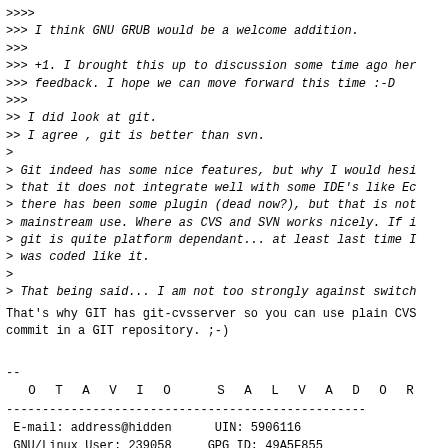>>>>
>>> I think GNU GRUB would be a welcome addition.
>>>
>>> +1. I brought this up to discussion some time ago he
>>> feedback. I hope we can move forward this time :-D
>>>
>> I did look at git.
>> I agree , git is better than svn.
>
> Git indeed has some nice features, but why I would hes
> that it does not integrate well with some IDE's like Ec
> there has been some plugin (dead now?), but that is not
> mainstream use. Where as CVS and SVN works nicely. If i
> git is quite platform dependant... at least last time I
> was coded like it.
>
> That being said... I am not too strongly against switch
That's why GIT has git-cvsserver so you can use plain CV
commit in a GIT repository. ;-)
--
        O T A V I O   S A L V A D O R
--------------------------------------------------
 E-mail: address@hidden      UIN: 5906116
 GNU/Linux User: 239058     GPG ID: 49A5F855
 Home Page: http://otavio.ossystems.com.br
--------------------------------------------------
"Microsoft sells you Windows ... Linux gives
 you the whole house."